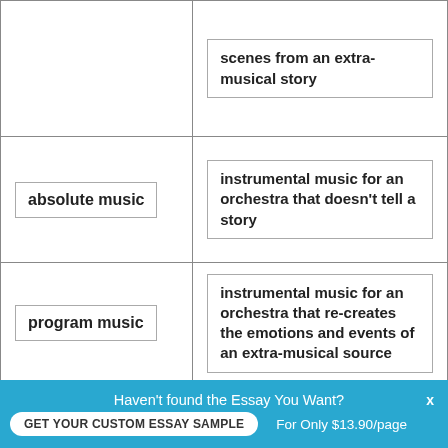| Term | Definition |
| --- | --- |
|  | scenes from an extra-musical story |
| absolute music | instrumental music for an orchestra that doesn't tell a story |
| program music | instrumental music for an orchestra that re-creates the emotions and events of an extra-musical source |
Haven't found the Essay You Want?
GET YOUR CUSTOM ESSAY SAMPLE
For Only $13.90/page